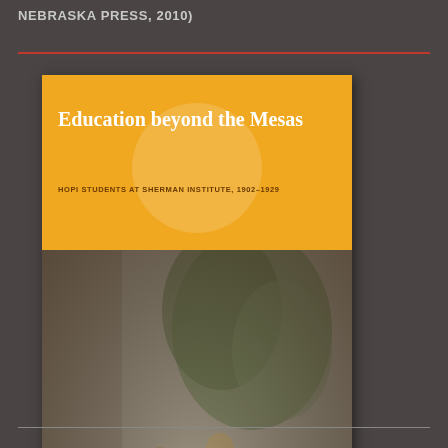NEBRASKA PRESS, 2010)
[Figure (photo): Book cover of 'Education beyond the Mesas: Hopi Students at Sherman Institute, 1902-1929' by Matthew Sakiestewa Gilbert. The cover has an orange top section with the title in white bold serif text and subtitle below it. The bottom portion shows a black and white historical photograph of a group of Native American people including adults and children posed together in front of a building with vines. The author's name appears in italic white text at the bottom.]